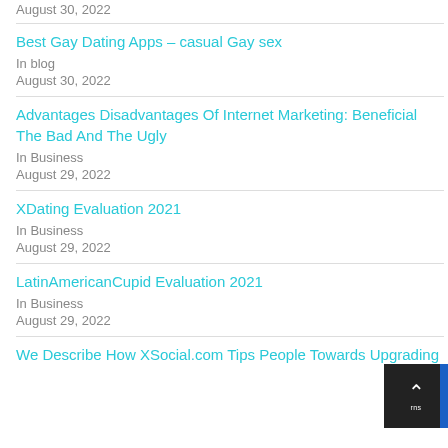August 30, 2022
Best Gay Dating Apps – casual Gay sex
In blog
August 30, 2022
Advantages Disadvantages Of Internet Marketing: Beneficial The Bad And The Ugly
In Business
August 29, 2022
XDating Evaluation 2021
In Business
August 29, 2022
LatinAmericanCupid Evaluation 2021
In Business
August 29, 2022
We Describe How XSocial.com Tips People Towards Upgrading